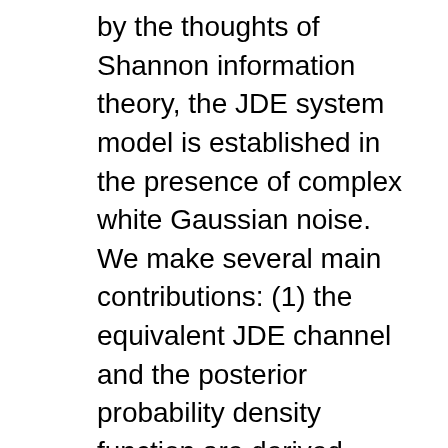by the thoughts of Shannon information theory, the JDE system model is established in the presence of complex white Gaussian noise. We make several main contributions: (1) the equivalent JDE channel and the posterior probability density function are derived based on the priori statistical characteristic of the